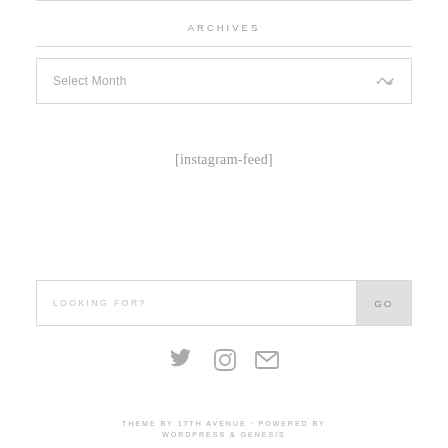ARCHIVES
Select Month
[instagram-feed]
LOOKING FOR?
GO
[Figure (illustration): Social media icons: Twitter bird, Instagram camera, envelope/mail]
THEME BY 17TH AVENUE · POWERED BY WORDPRESS & GENESIS